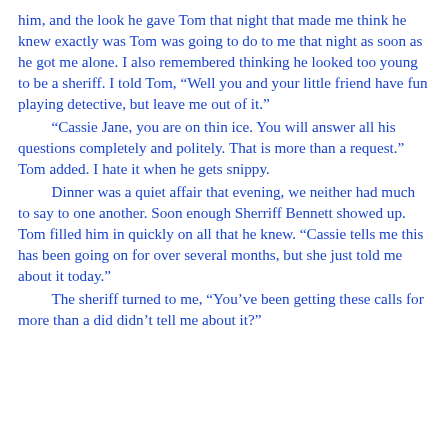him, and the look he gave Tom that night that made me think he knew exactly was Tom was going to do to me that night as soon as he got me alone. I also remembered thinking he looked too young to be a sheriff. I told Tom, “Well you and your little friend have fun playing detective, but leave me out of it.”
“Cassie Jane, you are on thin ice. You will answer all his questions completely and politely. That is more than a request.” Tom added. I hate it when he gets snippy.
Dinner was a quiet affair that evening, we neither had much to say to one another. Soon enough Sherriff Bennett showed up. Tom filled him in quickly on all that he knew. “Cassie tells me this has been going on for over several months, but she just told me about it today.”
The sheriff turned to me, “You’ve been getting these calls for more than a did didn’t tell me about it?”